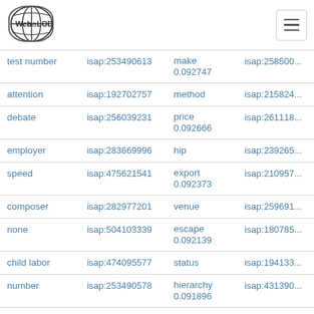[Figure (logo): Web isa LOD globe logo with text]
| term | isap_id | related_term | isap_id2 |
| --- | --- | --- | --- |
| test number | isap:253490613 | make
0.092747 | isap:258500... |
| attention | isap:192702757 | method | isap:215824... |
| debate | isap:256039231 | price
0.092666 | isap:261118... |
| employer | isap:283669996 | hip | isap:239265... |
| speed | isap:475621541 | export
0.092373 | isap:210957... |
| composer | isap:282977201 | venue | isap:259691... |
| none | isap:504103339 | escape
0.092139 | isap:180785... |
| child labor | isap:474095577 | status | isap:194133... |
| number | isap:253490578 | hierarchy
0.091896 | isap:431390... |
| debt | isap:504741649 | deposit | isap:245667... |
| variant | isap:217407689 | lift
0.091713 | isap:191582... |